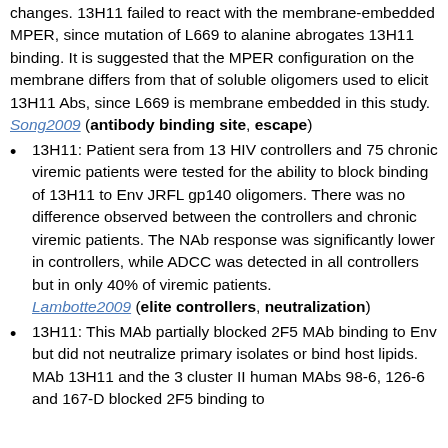changes. 13H11 failed to react with the membrane-embedded MPER, since mutation of L669 to alanine abrogates 13H11 binding. It is suggested that the MPER configuration on the membrane differs from that of soluble oligomers used to elicit 13H11 Abs, since L669 is membrane embedded in this study. Song2009 (antibody binding site, escape)
13H11: Patient sera from 13 HIV controllers and 75 chronic viremic patients were tested for the ability to block binding of 13H11 to Env JRFL gp140 oligomers. There was no difference observed between the controllers and chronic viremic patients. The NAb response was significantly lower in controllers, while ADCC was detected in all controllers but in only 40% of viremic patients. Lambotte2009 (elite controllers, neutralization)
13H11: This MAb partially blocked 2F5 MAb binding to Env but did not neutralize primary isolates or bind host lipids. MAb 13H11 and the 3 cluster II human MAbs 98-6, 126-6 and 167-D blocked 2F5 binding to